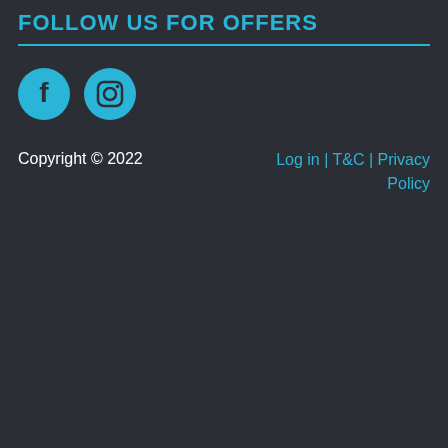FOLLOW US FOR OFFERS
[Figure (illustration): Facebook and Instagram social media icons as cyan filled circles with white symbols]
Copyright © 2022
Log in | T&C | Privacy Policy